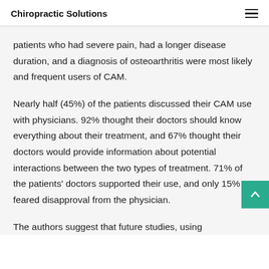Chiropractic Solutions
patients who had severe pain, had a longer disease duration, and a diagnosis of osteoarthritis were most likely and frequent users of CAM.
Nearly half (45%) of the patients discussed their CAM use with physicians. 92% thought their doctors should know everything about their treatment, and 67% thought their doctors would provide information about potential interactions between the two types of treatment. 71% of the patients' doctors supported their use, and only 15% feared disapproval from the physician.
The authors suggest that future studies, using